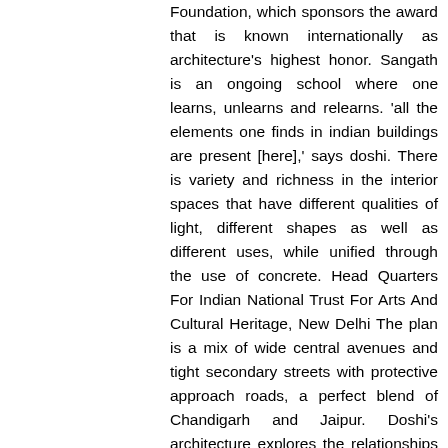Foundation, which sponsors the award that is known internationally as architecture's highest honor. Sangath is an ongoing school where one learns, unlearns and relearns. 'all the elements one finds in indian buildings are present [here],' says doshi. There is variety and richness in the interior spaces that have different qualities of light, different shapes as well as different uses, while unified through the use of concrete. Head Quarters For Indian National Trust For Arts And Cultural Heritage, New Delhi The plan is a mix of wide central avenues and tight secondary streets with protective approach roads, a perfect blend of Chandigarh and Jaipur. Doshi's architecture explores the relationships between fundamental needs of human life, connectivity to self and culture, and understanding of social traditions, within the context of a place and its environment, and through a response to Modernism. share your thoughts in our comments section below.all comments are reviewed for the purposes of moderation before publishing. Using patios, courtyards, and